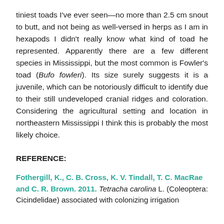tiniest toads I've ever seen—no more than 2.5 cm snout to butt, and not being as well-versed in herps as I am in hexapods I didn't really know what kind of toad he represented. Apparently there are a few different species in Mississippi, but the most common is Fowler's toad (Bufo fowleri). Its size surely suggests it is a juvenile, which can be notoriously difficult to identify due to their still undeveloped cranial ridges and coloration. Considering the agricultural setting and location in northeastern Mississippi I think this is probably the most likely choice.
REFERENCE:
Fothergill, K., C. B. Cross, K. V. Tindall, T. C. MacRae and C. R. Brown. 2011. Tetracha carolina L. (Coleoptera: Cicindelidae) associated with colonizing irrigation...